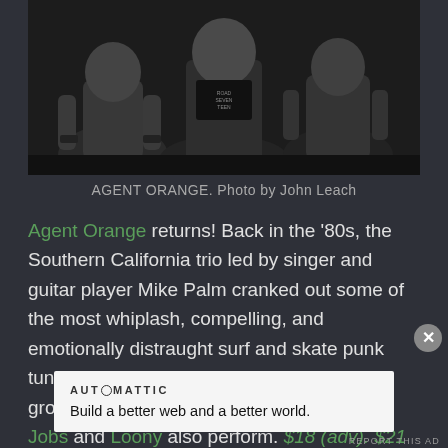[Figure (photo): Black and white photo of Agent Orange band members]
AGENT ORANGE. Photo by John Leach
Agent Orange returns! Back in the '80s, the Southern California trio led by singer and guitar player Mike Palm cranked out some of the most whiplash, compelling, and emotionally distraught surf and skate punk tunes ever committed to tape. Seeing the group live is kind of a rite of passage. Skin Jobs and Loony also perform. $18 (adv), $21
[Figure (other): Close button overlay (X circle)]
AUTOMATTIC
Build a better web and a better world.
REPORT THIS AD